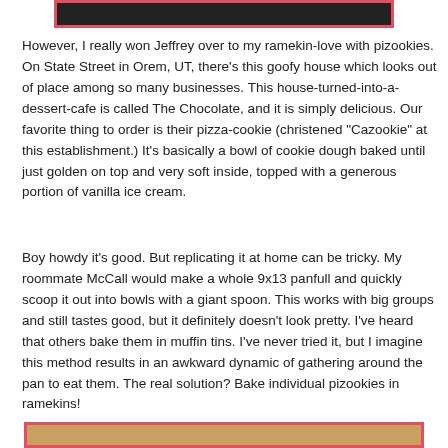[Figure (photo): Top portion of a food photo with a dark background, partially visible, framed with a pink/red border.]
However, I really won Jeffrey over to my ramekin-love with pizookies. On State Street in Orem, UT, there's this goofy house which looks out of place among so many businesses. This house-turned-into-a-dessert-cafe is called The Chocolate, and it is simply delicious. Our favorite thing to order is their pizza-cookie (christened "Cazookie" at this establishment.) It's basically a bowl of cookie dough baked until just golden on top and very soft inside, topped with a generous portion of vanilla ice cream.
Boy howdy it's good. But replicating it at home can be tricky. My roommate McCall would make a whole 9x13 panfull and quickly scoop it out into bowls with a giant spoon. This works with big groups and still tastes good, but it definitely doesn't look pretty. I've heard that others bake them in muffin tins. I've never tried it, but I imagine this method results in an awkward dynamic of gathering around the pan to eat them. The real solution? Bake individual pizookies in ramekins!
[Figure (photo): Bottom portion of a food photo showing baked goods with warm golden-brown tones, framed with a pink/red border.]